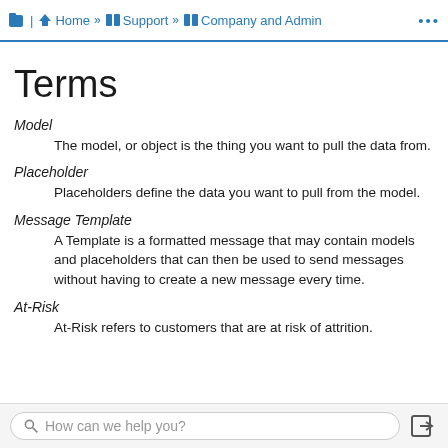Home » Support » Company and Admin
Terms
Model
The model, or object is the thing you want to pull the data from.
Placeholder
Placeholders define the data you want to pull from the model.
Message Template
A Template is a formatted message that may contain models and placeholders that can then be used to send messages without having to create a new message every time.
At-Risk
At-Risk refers to customers that are at risk of attrition.